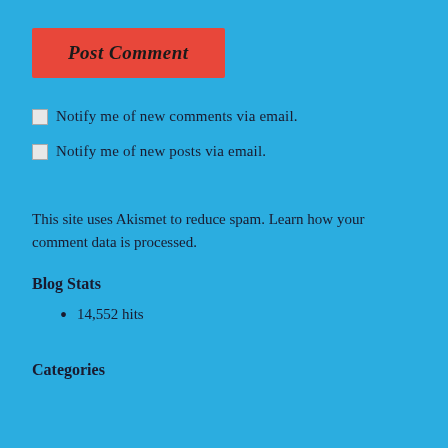[Figure (other): Red button labeled 'Post Comment' in bold italic serif font]
Notify me of new comments via email.
Notify me of new posts via email.
This site uses Akismet to reduce spam. Learn how your comment data is processed.
Blog Stats
14,552 hits
Categories